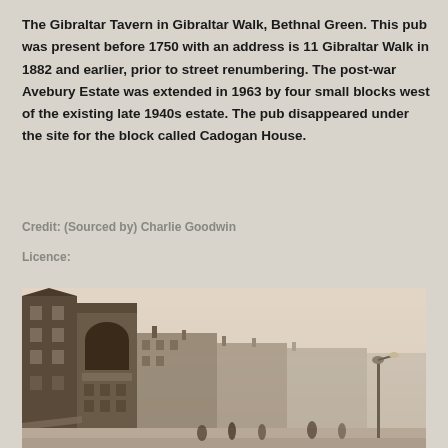The Gibraltar Tavern in Gibraltar Walk, Bethnal Green. This pub was present before 1750 with an address is 11 Gibraltar Walk in 1882 and earlier, prior to street renumbering. The post-war Avebury Estate was extended in 1963 by four small blocks west of the existing late 1940s estate. The pub disappeared under the site for the block called Cadogan House.
Credit: (Sourced by) Charlie Goodwin
Licence:
[Figure (photo): Sepia-toned historical photograph of a Victorian street scene showing Gibraltar Walk, Bethnal Green, with multi-storey brick buildings on the left and a wide street with people and a lamp post visible.]